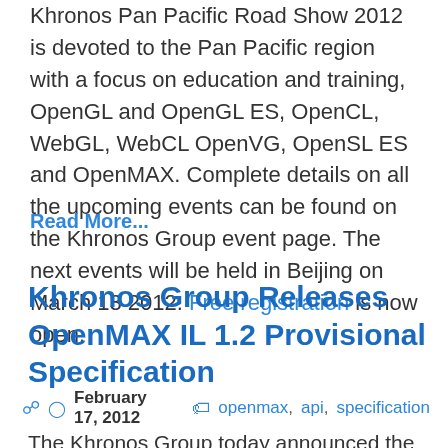Khronos Pan Pacific Road Show 2012 is devoted to the Pan Pacific region with a focus on education and training, OpenGL and OpenGL ES, OpenCL, WebGL, WebCL OpenVG, OpenSL ES and OpenMAX. Complete details on all the upcoming events can be found on the Khronos Group event page. The next events will be held in Beijing on March 13 2012. Free registration is now open.
Read More...
Khronos Group Releases OpenMAX IL 1.2 Provisional Specification
February 17, 2012   openmax, api, specification
The Khronos Group today announced the release of OpenMAX IL 1.2 provisional specification...